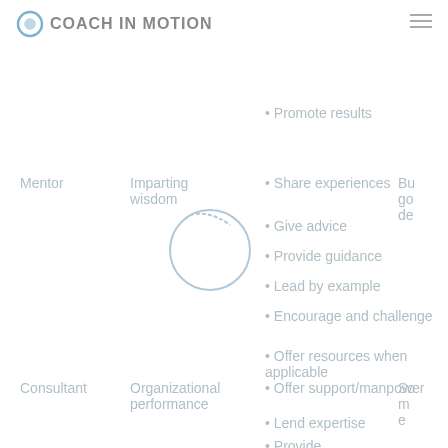COACH IN MOTION
Promote results
Mentor
Imparting wisdom
Share experiences
Give advice
Provide guidance
Lead by example
Encourage and challenge
Offer resources when applicable
Consultant
Organizational performance
Offer support/manpower
Lend expertise
Provide